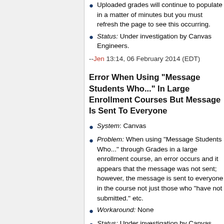Uploaded grades will continue to populate in a matter of minutes but you must refresh the page to see this occurring.
Status: Under investigation by Canvas Engineers.
--Jen 13:14, 06 February 2014 (EDT)
Error When Using "Message Students Who..." In Large Enrollment Courses But Message Is Sent To Everyone
System: Canvas
Problem: When using "Message Students Who..." through Grades in a large enrollment course, an error occurs and it appears that the message was not sent; however, the message is sent to everyone in the course not just those who "have not submitted." etc.
Workaround: None
Status: Under investigation by Canvas